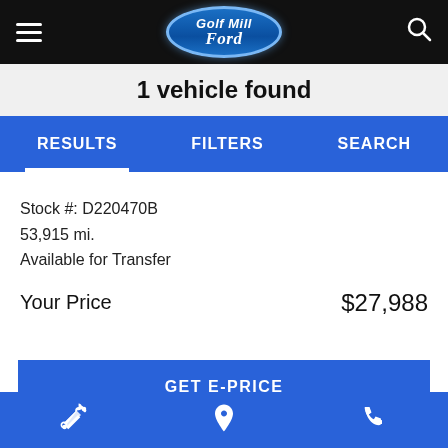Golf Mill Ford — navigation header with hamburger menu, logo, and search icon
1 vehicle found
RESULTS  FILTERS  SEARCH
Stock #: D220470B
53,915 mi.
Available for Transfer
Your Price  $27,988
GET E-PRICE
GET LEASE INFO
GET PRE-APPROVED
Bottom action bar with wrench, location pin, and phone icons